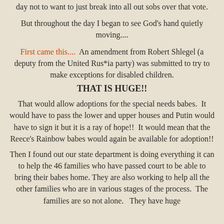day not to want to just break into all out sobs over that vote.
But throughout the day I began to see God's hand quietly moving....
First came this....  An amendment from Robert Shlegel (a deputy from the United Rus*ia party) was submitted to try to make exceptions for disabled children.
THAT IS HUGE!!
That would allow adoptions for the special needs babes.  It would have to pass the lower and upper houses and Putin would have to sign it but it is a ray of hope!!  It would mean that the Reece's Rainbow babes would again be available for adoption!!
Then I found out our state department is doing everything it can to help the 46 families who have passed court to be able to bring their babes home. They are also working to help all the other families who are in various stages of the process.  The families are so not alone.   They have huge